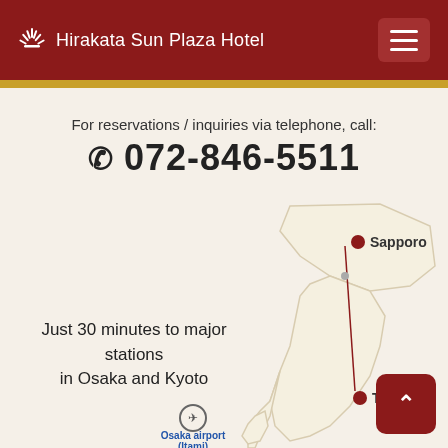Hirakata Sun Plaza Hotel
For reservations / inquiries via telephone, call:
072-846-5511
[Figure (map): Simplified outline map of Japan showing locations of Sapporo, Tokyo, and Osaka airport (Itami), with a red line connecting cities.]
Just 30 minutes to major stations in Osaka and Kyoto